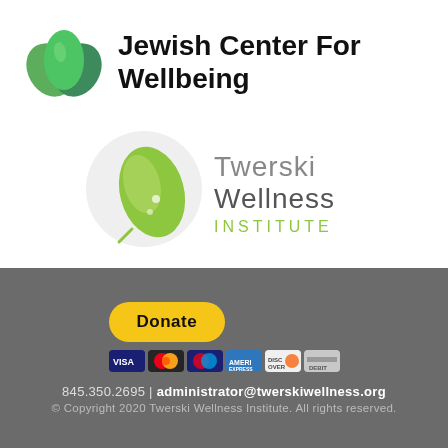[Figure (logo): Jewish Center For Wellbeing logo with green leaf/flower icon and bold text]
[Figure (logo): Twerski Wellness Institute logo with green leaf on circular background]
[Figure (infographic): Donate button with PayPal-style yellow pill button and payment card icons (Visa, Mastercard, Discover, Amex, etc.)]
845.350.2695 | administrator@twerskiwellness.org
© Copyright 2020 Twerski Wellness Institute. All rights reserved.